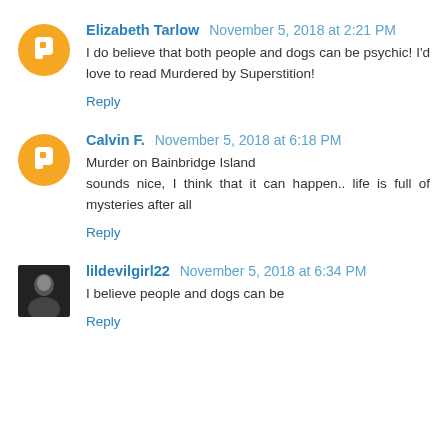Elizabeth Tarlow November 5, 2018 at 2:21 PM
I do believe that both people and dogs can be psychic! I'd love to read Murdered by Superstition!
Reply
Calvin F. November 5, 2018 at 6:18 PM
Murder on Bainbridge Island
sounds nice, I think that it can happen.. life is full of mysteries after all
Reply
lildevilgirl22 November 5, 2018 at 6:34 PM
I believe people and dogs can be
Reply